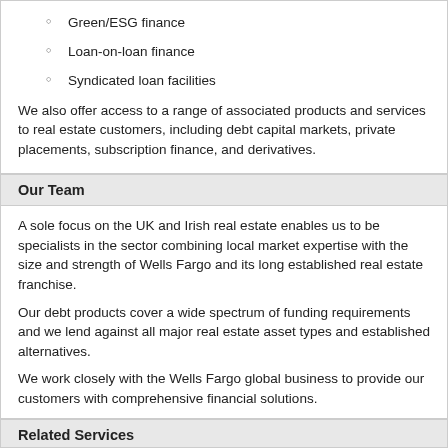Green/ESG finance
Loan-on-loan finance
Syndicated loan facilities
We also offer access to a range of associated products and services to real estate customers, including debt capital markets, private placements, subscription finance, and derivatives.
Our Team
A sole focus on the UK and Irish real estate enables us to be specialists in the sector combining local market expertise with the size and strength of Wells Fargo and its long established real estate franchise.
Our debt products cover a wide spectrum of funding requirements and we lend against all major real estate asset types and established alternatives.
We work closely with the Wells Fargo global business to provide our customers with comprehensive financial solutions.
Related Services
Debt capital markets